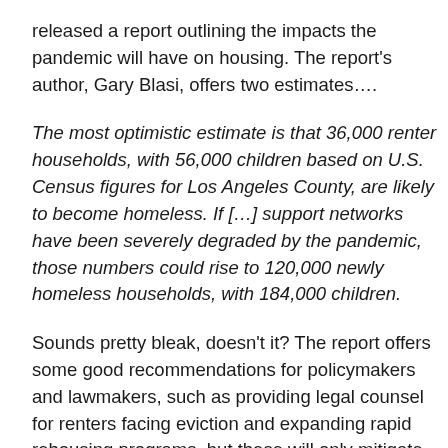released a report outlining the impacts the pandemic will have on housing. The report's author, Gary Blasi, offers two estimates….
The most optimistic estimate is that 36,000 renter households, with 56,000 children based on U.S. Census figures for Los Angeles County, are likely to become homeless. If […] support networks have been severely degraded by the pandemic, those numbers could rise to 120,000 newly homeless households, with 184,000 children.
Sounds pretty bleak, doesn't it? The report offers some good recommendations for policymakers and lawmakers, such as providing legal counsel for renters facing eviction and expanding rapid rehousing programs, but these will only mitigate the damage.